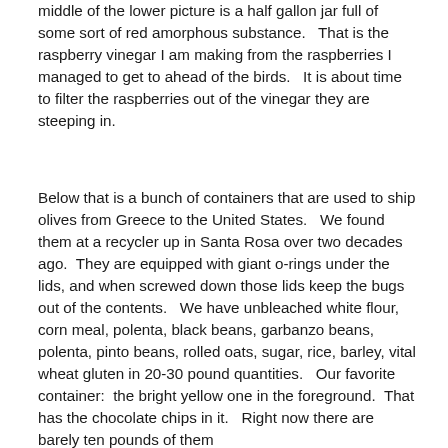middle of the lower picture is a half gallon jar full of some sort of red amorphous substance.   That is the raspberry vinegar I am making from the raspberries I managed to get to ahead of the birds.   It is about time to filter the raspberries out of the vinegar they are steeping in.
Below that is a bunch of containers that are used to ship olives from Greece to the United States.   We found them at a recycler up in Santa Rosa over two decades ago.  They are equipped with giant o-rings under the lids, and when screwed down those lids keep the bugs out of the contents.   We have unbleached white flour, corn meal, polenta, black beans, garbanzo beans, polenta, pinto beans, rolled oats, sugar, rice, barley, vital wheat gluten in 20-30 pound quantities.   Our favorite container:  the bright yellow one in the foreground.  That has the chocolate chips in it.   Right now there are barely ten pounds of them